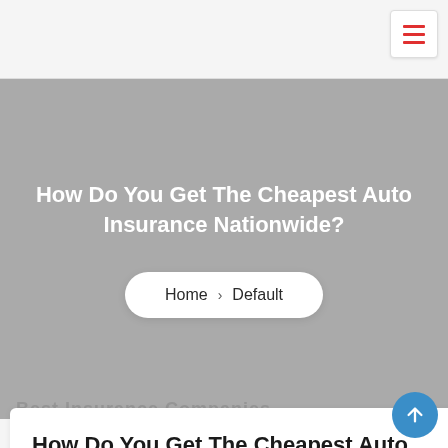[Figure (screenshot): Top navigation bar with hamburger menu icon (three red lines) on white background with gray border at bottom]
How Do You Get The Cheapest Auto Insurance Nationwide?
Home > Default
Best Insurance Companies
How Do You Get The Cheapest Auto Insurance Nationwide?